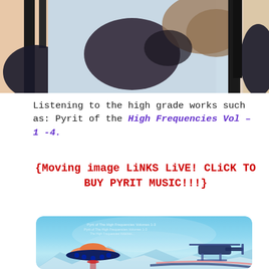[Figure (photo): Top cropped photo showing fashion/artistic imagery with dark and light contrasting elements, appears to be a partially visible figure with black and light-colored garments against a light blue background]
Listening to the high grade works such as: Pyrit of the High Frequencies Vol – 1 -4.
{Moving image LiNKS LiVE! CLiCK TO BUY PYRIT MUSIC!!!}
[Figure (illustration): Animated/illustrated image with aqua blue background showing a UFO/flying saucer with orange and dark coloring on the left side, and a helicopter-like craft on the right, with mountain shapes at the bottom and text overlay reading 'Pyrit of The High Frequencies Volumes 1-3' repeated multiple times in white text]